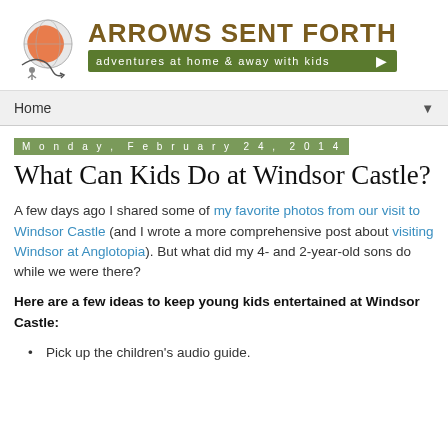[Figure (logo): Arrows Sent Forth blog logo with globe graphic and tagline 'adventures at home & away with kids']
Home ▼
Monday, February 24, 2014
What Can Kids Do at Windsor Castle?
A few days ago I shared some of my favorite photos from our visit to Windsor Castle (and I wrote a more comprehensive post about visiting Windsor at Anglotopia). But what did my 4- and 2-year-old sons do while we were there?
Here are a few ideas to keep young kids entertained at Windsor Castle:
Pick up the children's audio guide.